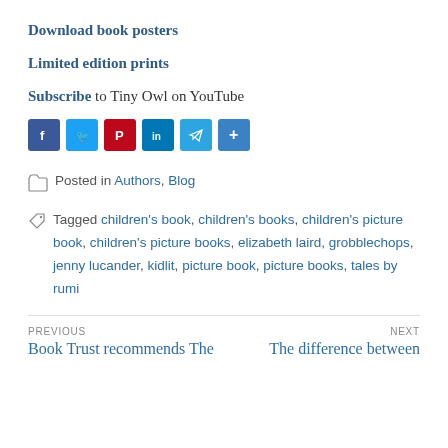Download book posters
Limited edition prints
Subscribe to Tiny Owl on YouTube
[Figure (other): Social sharing icons: Facebook, Twitter, Pinterest, LinkedIn, Telegram, Share]
Posted in Authors, Blog
Tagged children's book, children's books, children's picture book, children's picture books, elizabeth laird, grobblechops, jenny lucander, kidlit, picture book, picture books, tales by rumi
PREVIOUS
Book Trust recommends The
NEXT
The difference between